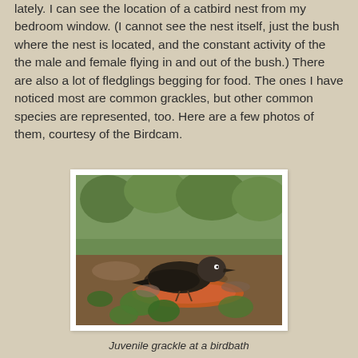lately. I can see the location of a catbird nest from my bedroom window. (I cannot see the nest itself, just the bush where the nest is located, and the constant activity of the the male and female flying in and out of the bush.) There are also a lot of fledglings begging for food. The ones I have noticed most are common grackles, but other common species are represented, too. Here are a few photos of them, courtesy of the Birdcam.
[Figure (photo): A juvenile grackle bird standing at a birdbath on the ground, surrounded by leaves and forest debris. The bird is dark/brownish with a reddish-orange dish visible below it.]
Juvenile grackle at a birdbath